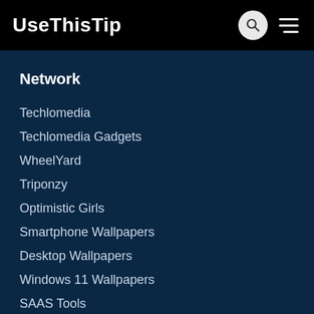UseThisTip
Network
Techlomedia
Techlomedia Gadgets
WheelYard
Triponzy
Optimistic Girls
Smartphone Wallpapers
Desktop Wallpapers
Windows 11 Wallpapers
SAAS Tools
Information